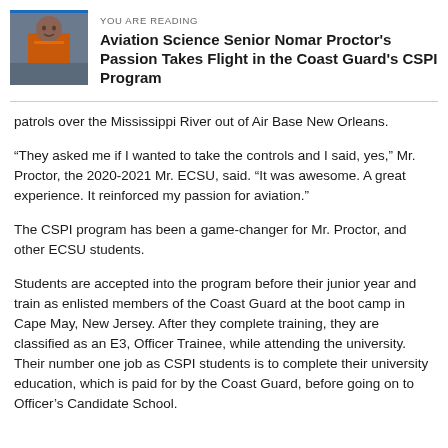[Figure (photo): Photo of Nomar Proctor in an orange vest, appearing to be in an aviation or outdoor setting]
YOU ARE READING
Aviation Science Senior Nomar Proctor's Passion Takes Flight in the Coast Guard's CSPI Program
patrols over the Mississippi River out of Air Base New Orleans.
“They asked me if I wanted to take the controls and I said, yes,” Mr. Proctor, the 2020-2021 Mr. ECSU, said. “It was awesome. A great experience. It reinforced my passion for aviation.”
The CSPI program has been a game-changer for Mr. Proctor, and other ECSU students.
Students are accepted into the program before their junior year and train as enlisted members of the Coast Guard at the boot camp in Cape May, New Jersey. After they complete training, they are classified as an E3, Officer Trainee, while attending the university. Their number one job as CSPI students is to complete their university education, which is paid for by the Coast Guard, before going on to Officer’s Candidate School.